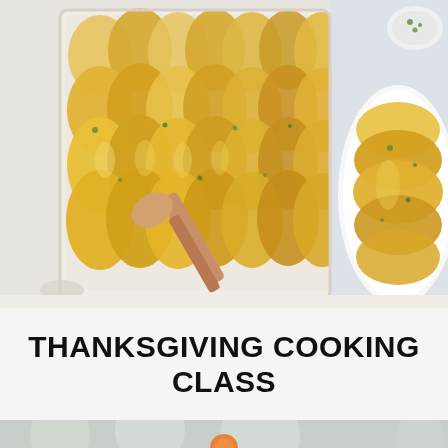[Figure (photo): Overhead photo of a white baking dish filled with rows of sliced scalloped potatoes with golden-brown tops, garnished with chopped parsley, with a wooden spoon being used to serve. To the right, a white oval serving dish with a portion of the scalloped potatoes, also garnished with herbs, on a light marble/white surface.]
THANKSGIVING COOKING CLASS
[Figure (photo): Partial view of a blurred outdoor bokeh background (green/grey tones) with a small orange element visible at the bottom center, suggesting a person or object partially cut off.]